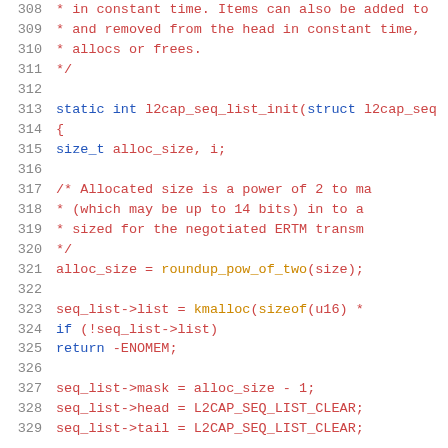Source code listing, lines 308-329, showing C function l2cap_seq_list_init with comments and code
308   * in constant time. Items can also be added to
309   * and removed from the head in constant time,
310   * allocs or frees.
311   */
312
313 static int l2cap_seq_list_init(struct l2cap_seq
314 {
315        size_t alloc_size, i;
316
317        /* Allocated size is a power of 2 to ma
318         * (which may be up to 14 bits) in to a
319         * sized for the negotiated ERTM transm
320         */
321        alloc_size = roundup_pow_of_two(size);
322
323        seq_list->list = kmalloc(sizeof(u16) *
324        if (!seq_list->list)
325               return -ENOMEM;
326
327        seq_list->mask = alloc_size - 1;
328        seq_list->head = L2CAP_SEQ_LIST_CLEAR;
329        seq_list->tail = L2CAP_SEQ_LIST_CLEAR;